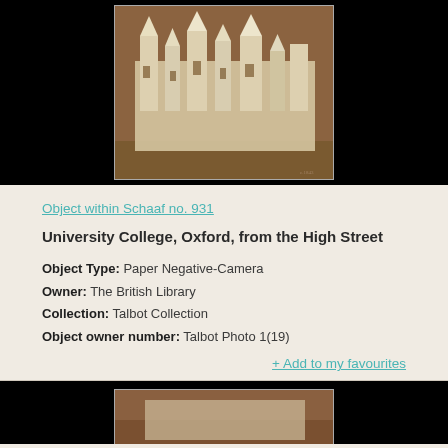[Figure (photo): Sepia-toned photographic paper negative of University College, Oxford, from the High Street. Gothic architecture buildings visible against a dark brown background. White/light colored image of ornate collegiate buildings.]
Object within Schaaf no. 931
University College, Oxford, from the High Street
Object Type: Paper Negative-Camera
Owner: The British Library
Collection: Talbot Collection
Object owner number: Talbot Photo 1(19)
+ Add to my favourites
[Figure (photo): Partial view of another photograph at the bottom of the page, cut off. Dark background with the beginning of another sepia image visible.]